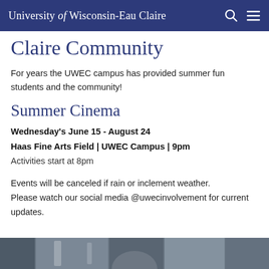University of Wisconsin-Eau Claire
Claire Community
For years the UWEC campus has provided summer fun students and the community!
Summer Cinema
Wednesday's June 15 - August 24
Haas Fine Arts Field | UWEC Campus | 9pm
Activities start at 8pm
Events will be canceled if rain or inclement weather. Please watch our social media @uwecinvolvement for current updates.
[Figure (photo): Partial photo strip at the bottom of the page showing an outdoor event scene]